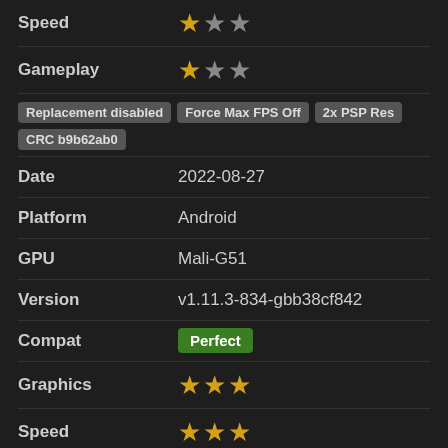Speed: 1 star out of 3
Gameplay: 1 star out of 3
Replacement disabled | Force Max FPS Off | 2x PSP Res | CRC b9b62ab0
Date: 2022-08-27
Platform: Android
GPU: Mali-G51
Version: v1.11.3-834-gbb38cf842
Compat: Perfect
Graphics: 3 stars out of 3
Speed: 3 stars out of 3
Gameplay: 2 stars out of 3